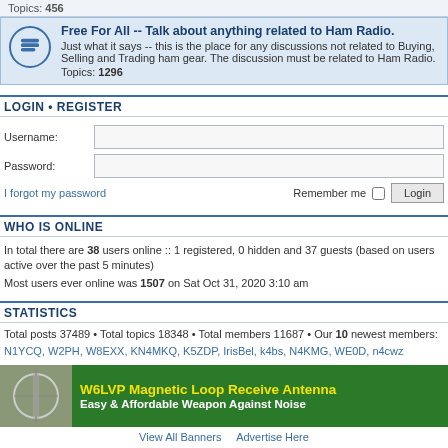Topics: 456
Free For All -- Talk about anything related to Ham Radio. Just what it says -- this is the place for any discussions not related to Buying, Selling and Trading ham gear. The discussion must be related to Ham Radio. Topics: 1296
LOGIN • REGISTER
Username:
Password:
I forgot my password
Remember me  Login
WHO IS ONLINE
In total there are 38 users online :: 1 registered, 0 hidden and 37 guests (based on users active over the past 5 minutes)
Most users ever online was 1507 on Sat Oct 31, 2020 3:10 am
STATISTICS
Total posts 37489 • Total topics 18348 • Total members 11687 • Our 10 newest members: N1YCQ, W2PH, W8EXX, KN4MKQ, K5ZDP, IrisBel, k4bs, N4KMG, WE0D, n4cwz
[Figure (illustration): Advertisement banner for W6LVP Magnetic Loop Receive Antenna with photo of antenna installation and green background with yellow and white text]
View All Banners   Advertise Here